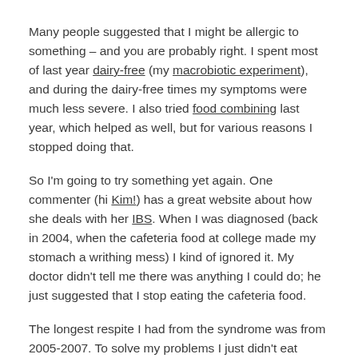Many people suggested that I might be allergic to something – and you are probably right. I spent most of last year dairy-free (my macrobiotic experiment), and during the dairy-free times my symptoms were much less severe. I also tried food combining last year, which helped as well, but for various reasons I stopped doing that.
So I'm going to try something yet again. One commenter (hi Kim!) has a great website about how she deals with her IBS. When I was diagnosed (back in 2004, when the cafeteria food at college made my stomach a writhing mess) I kind of ignored it. My doctor didn't tell me there was anything I could do; he just suggested that I stop eating the cafeteria food.
The longest respite I had from the syndrome was from 2005-2007. To solve my problems I just didn't eat much.